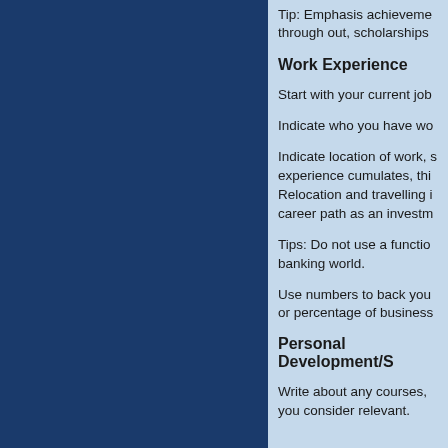Tip: Emphasis achievements through out, scholarships
Work Experience
Start with your current job
Indicate who you have wo
Indicate location of work, s experience cumulates, thi Relocation and travelling i career path as an investm
Tips: Do not use a functio banking world.
Use numbers to back you or percentage of business
Personal Development/S
Write about any courses, you consider relevant.